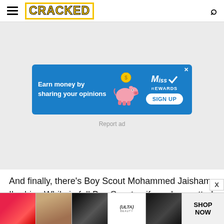CRACKED
[Figure (screenshot): Advertisement banner: 'Earn money by sharing your opinions' with MissRewards piggy bank graphic and SIGN UP button, on blue background. Below is a 'Report ad' link on a light gray background.]
And finally, there’s Boy Scout Mohammed Jaisham Ibrahim. While in full Boy Scout uniform, he spotted
[Figure (screenshot): Bottom advertisement banner showing Ulta Beauty cosmetics ad with images of lips, makeup brush, eyes, Ulta logo, and 'SHOP NOW' call to action. An X close button is visible.]